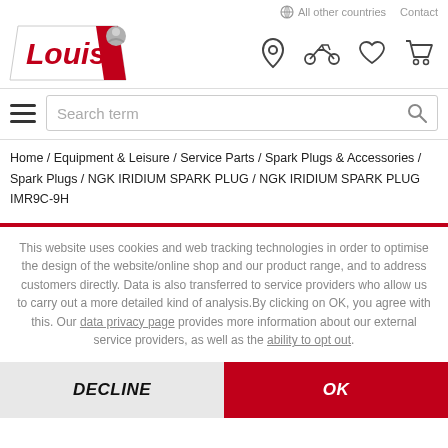All other countries   Contact
[Figure (logo): Louis motorcycle gear brand logo with cartoon rider figure]
[Figure (infographic): Navigation icons: location pin, motorcycle, heart/wishlist, shopping cart]
Search term
Home / Equipment & Leisure / Service Parts / Spark Plugs & Accessories / Spark Plugs / NGK IRIDIUM SPARK PLUG / NGK IRIDIUM SPARK PLUG IMR9C-9H
This website uses cookies and web tracking technologies in order to optimise the design of the website/online shop and our product range, and to address customers directly. Data is also transferred to service providers who allow us to carry out a more detailed kind of analysis.By clicking on OK, you agree with this. Our data privacy page provides more information about our external service providers, as well as the ability to opt out.
DECLINE
OK